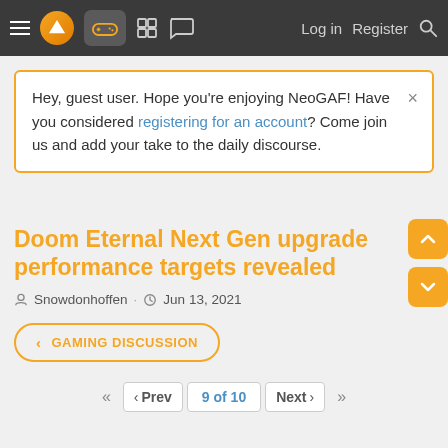NeoGAF navigation bar with hamburger menu, logo, gamepad icon, grid icon, chat icon, Log in, Register, Search
Hey, guest user. Hope you're enjoying NeoGAF! Have you considered registering for an account? Come join us and add your take to the daily discourse.
Doom Eternal Next Gen upgrade performance targets revealed
Snowdonhoffen · Jun 13, 2021
< GAMING DISCUSSION
9 of 10
Prev  Next